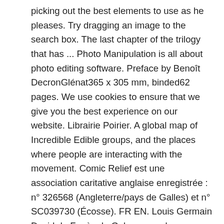picking out the best elements to use as he pleases. Try dragging an image to the search box. The last chapter of the trilogy that has ... Photo Manipulation is all about photo editing software. Preface by Benoît DecronGlénat365 x 305 mm, binded62 pages. We use cookies to ensure that we give you the best experience on our website. Librairie Poirier. A global map of Incredible Edible groups, and the places where people are interacting with the movement. Comic Relief est une association caritative anglaise enregistrée : n° 326568 (Angleterre/pays de Galles) et n° SC039730 (Écosse). FR EN. Louis Germain David de Funès de Galarza was born on July 31, 1914, in Courbevoie, France. We create awesome WordPress themes. Photographers can take a few shots and then manipulate them in Adobe Photoshop. Emancipation et performance (1850-1940), Femmes photographes, Federica Muzzarelli, Hazan Eds. Play chess live or against computer. Train with chess